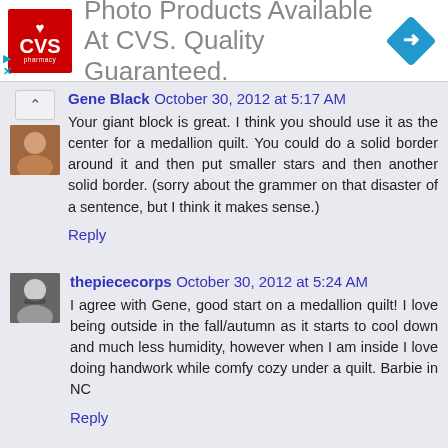[Figure (illustration): CVS Pharmacy advertisement banner: CVS logo on left, text 'Photo Products Available At CVS. Quality Guaranteed.' in center, blue arrow diamond on right.]
Gene Black  October 30, 2012 at 5:17 AM
Your giant block is great. I think you should use it as the center for a medallion quilt. You could do a solid border around it and then put smaller stars and then another solid border. (sorry about the grammer on that disaster of a sentence, but I think it makes sense.)
Reply
thepiececorps  October 30, 2012 at 5:24 AM
I agree with Gene, good start on a medallion quilt! I love being outside in the fall/autumn as it starts to cool down and much less humidity, however when I am inside I love doing handwork while comfy cozy under a quilt. Barbie in NC
Reply